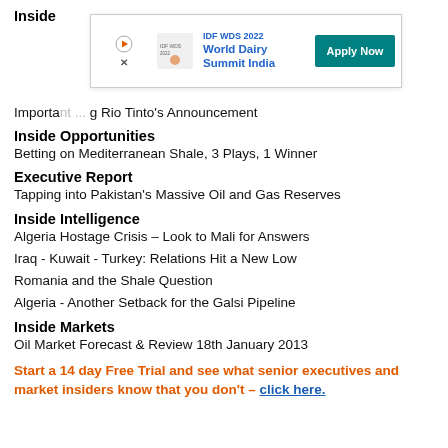Inside
Important ... g Rio Tinto's Announcement
[Figure (other): IDF WDS 2022 World Dairy Summit India advertisement banner with Apply Now button]
Inside Opportunities
Betting on Mediterranean Shale, 3 Plays, 1 Winner
Executive Report
Tapping into Pakistan's Massive Oil and Gas Reserves
Inside Intelligence
Algeria Hostage Crisis – Look to Mali for Answers
Iraq - Kuwait - Turkey: Relations Hit a New Low
Romania and the Shale Question
Algeria - Another Setback for the Galsi Pipeline
Inside Markets
Oil Market Forecast & Review 18th January 2013
Start a 14 day Free Trial and see what senior executives and market insiders know that you don't – click here.